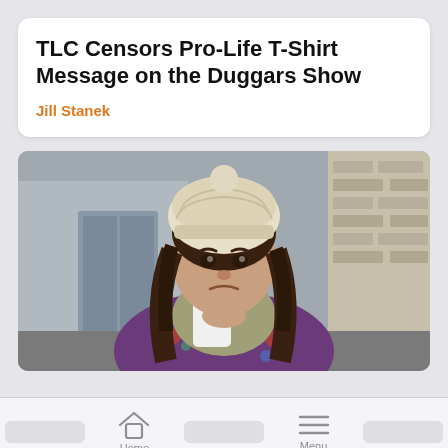TLC Censors Pro-Life T-Shirt Message on the Duggars Show
Jill Stanek
[Figure (photo): A woman with long dark wavy hair wearing a cream knit beanie hat, a khaki turtleneck sweater, and a purple floral cardigan, holding a white disposable coffee cup. She is standing outdoors with a brick building in the background and has a sad or upset expression.]
Home   Menu